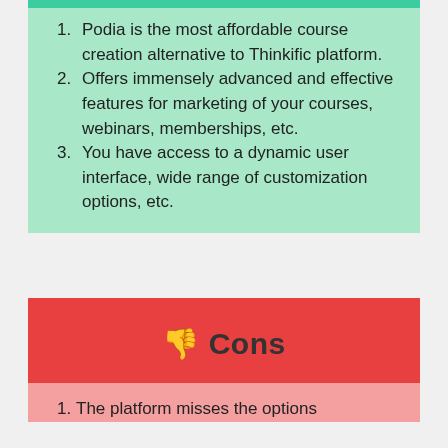Podia is the most affordable course creation alternative to Thinkific platform.
Offers immensely advanced and effective features for marketing of your courses, webinars, memberships, etc.
You have access to a dynamic user interface, wide range of customization options, etc.
👎 Cons
The platform misses the options